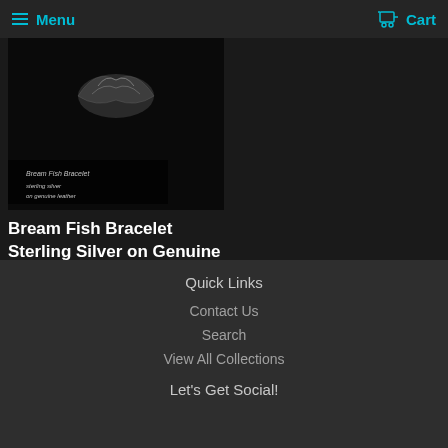Menu  Cart
[Figure (photo): Product photo of Bream Fish Bracelet Sterling Silver on Genuine Leather with text overlay on black background]
Bream Fish Bracelet Sterling Silver on Genuine Leather
$ 198°°
Quick Links
Contact Us
Search
View All Collections
Let's Get Social!